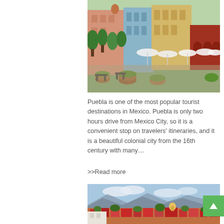[Figure (photo): Colorful colonial buildings and plaza in Puebla, Mexico, with outdoor cafe umbrellas, iron benches, and flower pots lining a pedestrian square.]
Puebla is one of the most popular tourist destinations in Mexico. Puebla is only two hours drive from Mexico City, so it is a convenient stop on travelers' itineraries, and it is a beautiful colonial city from the 16th century with many…
>>Read more
[Figure (photo): Aerial view of a colorful Mexican city with red-roofed buildings, green trees, and mountains in the background under a partly cloudy sky.]